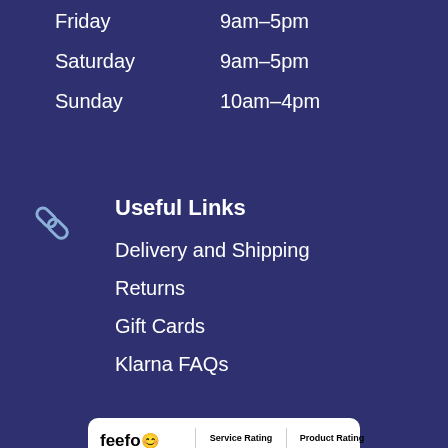Friday   9am–5pm
Saturday   9am–5pm
Sunday   10am–4pm
Useful Links
Delivery and Shipping
Returns
Gift Cards
Klarna FAQs
[Figure (logo): Feefo widget showing Service Rating and Product Rating with 5 stars each, 163 reviews]
Company
News
About Us
Meet the Team
Find Us
Terms and Conditions
Privacy Policy